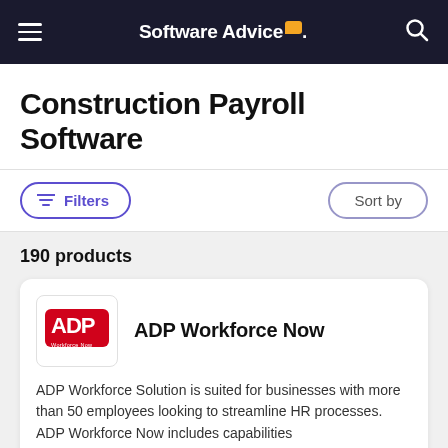Software Advice
Construction Payroll Software
Filters
Sort by
190 products
ADP Workforce Now
ADP Workforce Solution is suited for businesses with more than 50 employees looking to streamline HR processes. ADP Workforce Now includes capabilities